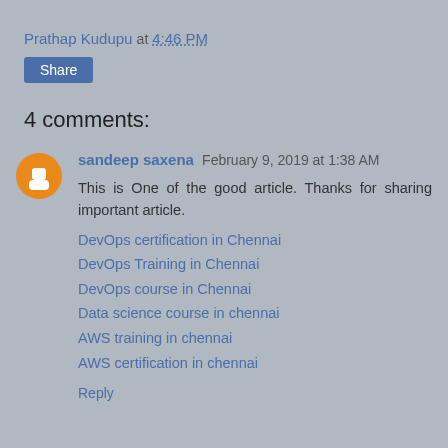Prathap Kudupu at 4:46 PM
Share
4 comments:
sandeep saxena  February 9, 2019 at 1:38 AM
This is One of the good article. Thanks for sharing important article.
DevOps certification in Chennai
DevOps Training in Chennai
DevOps course in Chennai
Data science course in chennai
AWS training in chennai
AWS certification in chennai
Reply